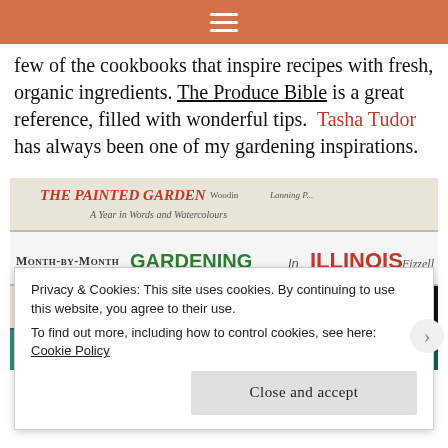≡
few of the cookbooks that inspire recipes with fresh, organic ingredients. The Produce Bible is a great reference, filled with wonderful tips.  Tasha Tudor has always been one of my gardening inspirations.
[Figure (photo): Stack of gardening and nature books: The Painted Garden (A Year in Words and Watercolours), Month-by-Month Gardening in Illinois by Fizzell, Seed Leaf Flower Fruit, and Herbcrafts by Tessa Evelegh]
Privacy & Cookies: This site uses cookies. By continuing to use this website, you agree to their use.
To find out more, including how to control cookies, see here: Cookie Policy
Close and accept